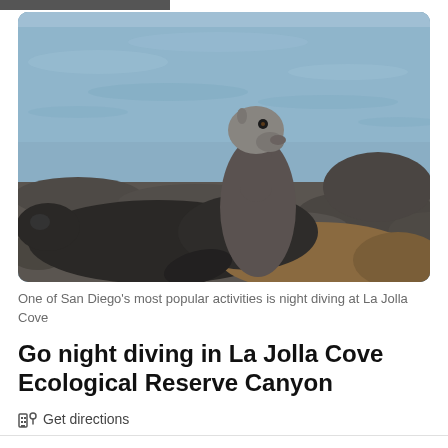[Figure (photo): Photo of sea lions resting on rocks near the ocean at La Jolla Cove. Two sea lions are prominently visible — one rearing its head upward, one lying down. Rocky shoreline with blueish ocean water in the background.]
One of San Diego's most popular activities is night diving at La Jolla Cove
Go night diving in La Jolla Cove Ecological Reserve Canyon
🏛️ Get directions
La Jolla Cove is known for its sea lions and